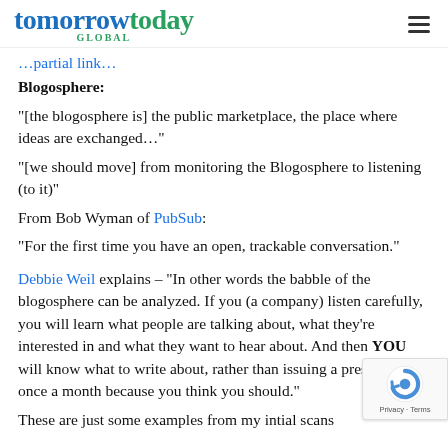tomorrowtoday GLOBAL
Blogosphere:
“[the blogosphere is] the public marketplace, the place where ideas are exchanged…”
“[we should move] from monitoring the Blogosphere to listening (to it)”
From Bob Wyman of PubSub:
“For the first time you have an open, trackable conversation.”
Debbie Weil explains – “In other words the babble of the blogosphere can be analyzed. If you (a company) listen carefully, you will learn what people are talking about, what they’re interested in and what they want to hear about. And then YOU will know what to write about, rather than issuing a press release once a month because you think you should.”
These are just some examples from my intial scans